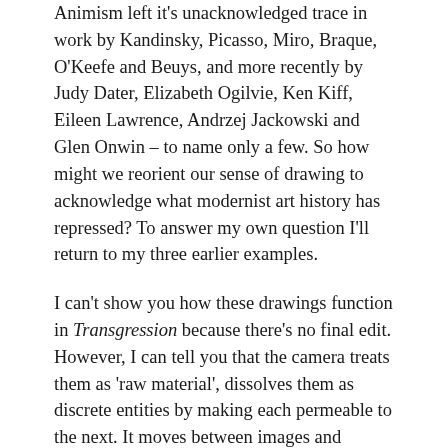Animism left it's unacknowledged trace in work by Kandinsky, Picasso, Miro, Braque, O'Keefe and Beuys, and more recently by Judy Dater, Elizabeth Ogilvie, Ken Kiff, Eileen Lawrence, Andrzej Jackowski and Glen Onwin – to name only a few. So how might we reorient our sense of drawing to acknowledge what modernist art history has repressed? To answer my own question I'll return to my three earlier examples.
I can't show you how these drawings function in Transgression because there's no final edit. However, I can tell you that the camera treats them as 'raw material', dissolves them as discrete entities by making each permeable to the next. It moves between images and details of images so that we never see the drawings as self contained, boundaried objects, only as evocations of an estuary in which mud and water flow endlessly in various permutations, dissolves, and tidal rhythms past rocks formed in ancient deserts. In short, the film itself draws with this material so as to suggest some of the constituent forces of a watery coastal meshscape in